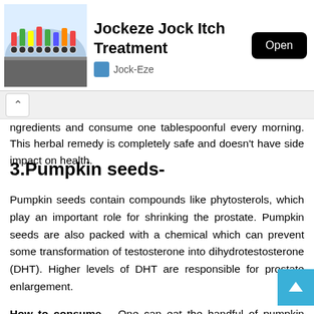[Figure (infographic): App advertisement banner for Jockeze Jock Itch Treatment by Jock-Eze with a cycling crowd image, app icon, and Open button]
ngredients and consume one tablespoonful every morning. This herbal remedy is completely safe and doesn't have side impact on health.
3.Pumpkin seeds-
Pumpkin seeds contain compounds like phytosterols, which play an important role for shrinking the prostate. Pumpkin seeds are also packed with a chemical which can prevent some transformation of testosterone into dihydrotestosterone (DHT). Higher levels of DHT are responsible for prostate enlargement.
How to consume – One can eat the handful of pumpkin seeds for three times in day to resolve the problem of prostate